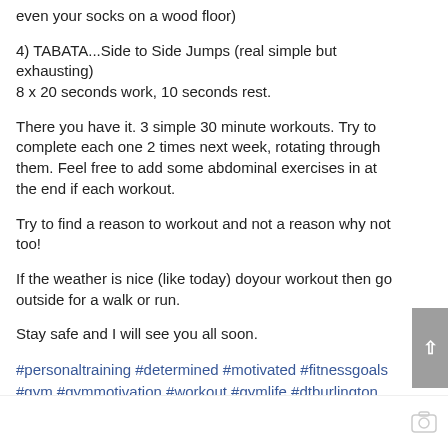even your socks on a wood floor)
4) TABATA...Side to Side Jumps (real simple but exhausting) 8 x 20 seconds work, 10 seconds rest.
There you have it. 3 simple 30 minute workouts. Try to complete each one 2 times next week, rotating through them. Feel free to add some abdominal exercises in at the end if each workout.
Try to find a reason to workout and not a reason why not too!
If the weather is nice (like today) doyour workout then go outside for a walk or run.
Stay safe and I will see you all soon.
#personaltraining #determined #motivated #fitnessgoals #gym #gymmotivation #workout #gymlife #dtburlington #burlington #brantstreet #burlon #strivestrength andfitness #strong #healthy #fit #homeworkout #legworkout #quickworkout #homefitness
view all 8 comments